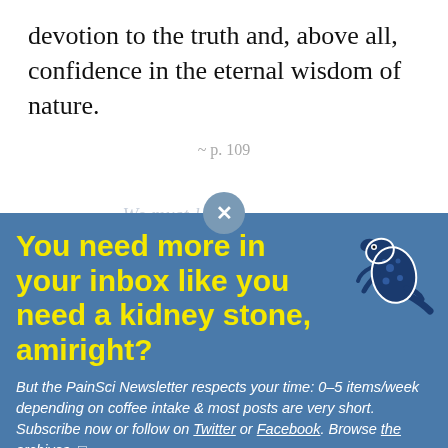devotion to the truth and, above all, confidence in the eternal wisdom of nature.
~ p. 109
You need more in your inbox like you need a kidney stone, amiright?
But the PainSci Newsletter respects your time: 0–5 items/week depending on coffee intake & most posts are very short. Subscribe now or follow on Twitter or Facebook. Browse the archives. □